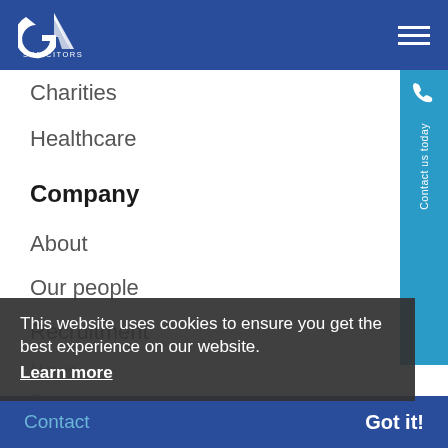[Figure (logo): GA Solicitors logo in white on dark blue header bar]
GA Solicitors navigation header with hamburger menu
Charities
Healthcare
Company
About
Our people
Recruitment
News
Events
COVID-19 legal hub
Contact
This website uses cookies to ensure you get the best experience on our website. Learn more
Contact   Got it!